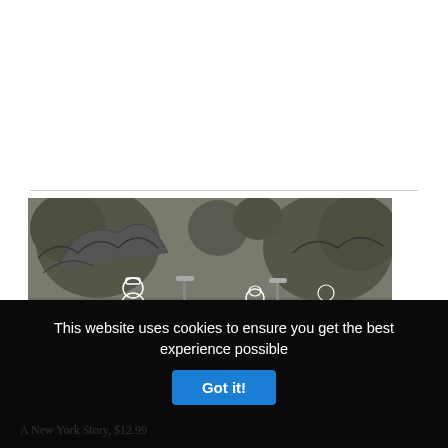[Figure (illustration): A pencil/ink sketch illustration showing a park scene with trees, a bench, and several stylized figures rendered with white outlines on a dark grey background. One figure stands on the left, another sits on a bench in the center, and additional figures are visible on the right.]
This website uses cookies to ensure you get the best experience possible
Got it!
New Yorker Sketchbook by Willy Hartland
A New York Story, $12.99